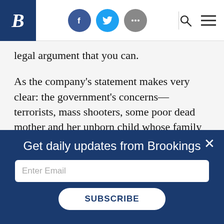Brookings Institution navigation bar with logo, social icons, search and menu
legal argument that you can.
As the company’s statement makes very clear: the government’s concerns—terrorists, mass shooters, some poor dead mother and her unborn child whose family may never see justice—all come before the “But.”
Get daily updates from Brookings
Enter Email
SUBSCRIBE